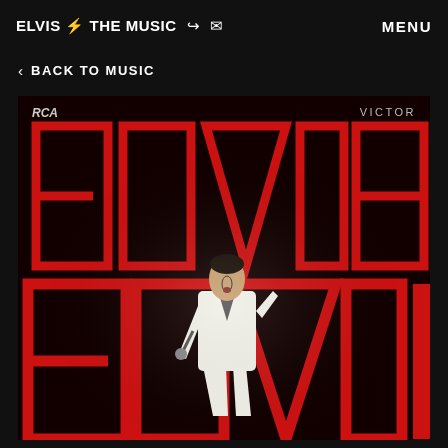ELVIS ⚡ THE MUSIC  🔗  ✉   MENU
< BACK TO MUSIC
[Figure (photo): Elvis Presley album cover showing Elvis in a white suit singing into a microphone, with the word ELVIS in large red outlined letters on a dark background. RCA VICTOR label shown in corners.]